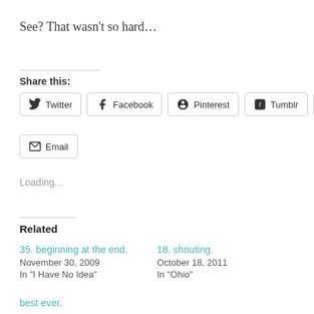See? That wasn't so hard…
Share this:
[Figure (other): Social share buttons: Twitter, Facebook, Pinterest, Tumblr, Reddit, Email]
Loading...
Related
35. beginning at the end.
November 30, 2009
In "I Have No Idea"
18. shouting.
October 18, 2011
In "Ohio"
best ever.